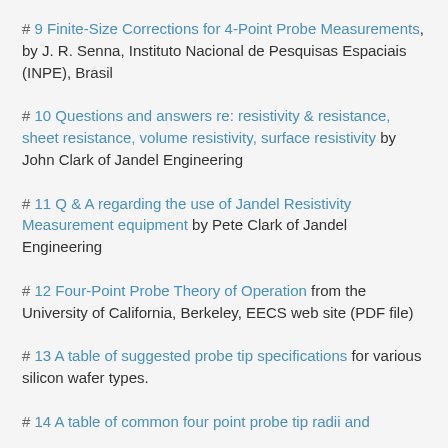# 9 Finite-Size Corrections for 4-Point Probe Measurements, by J. R. Senna, Instituto Nacional de Pesquisas Espaciais (INPE), Brasil
# 10 Questions and answers re: resistivity & resistance, sheet resistance, volume resistivity, surface resistivity by John Clark of Jandel Engineering
# 11 Q & A regarding the use of Jandel Resistivity Measurement equipment by Pete Clark of Jandel Engineering
# 12 Four-Point Probe Theory of Operation from the University of California, Berkeley, EECS web site (PDF file)
# 13 A table of suggested probe tip specifications for various silicon wafer types.
# 14 A table of common four point probe tip radii and